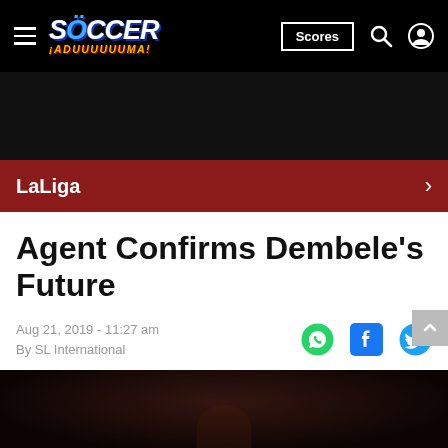Soccer Laduma — Scores | Search | Account
LaLiga →
Agent Confirms Dembele's Future
Aug 21, 2019 - 11:27 am
By SL International
[Figure (photo): Dark blurred background image at the bottom of the article page, showing a faint silhouette]